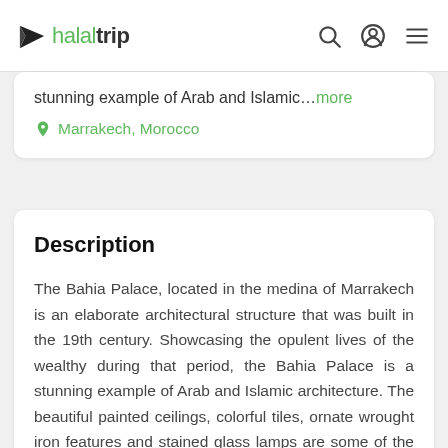halaltrip
stunning example of Arab and Islamic...more
Marrakech, Morocco
Description
The Bahia Palace, located in the medina of Marrakech is an elaborate architectural structure that was built in the 19th century. Showcasing the opulent lives of the wealthy during that period, the Bahia Palace is a stunning example of Arab and Islamic architecture. The beautiful painted ceilings, colorful tiles, ornate wrought iron features and stained glass lamps are some of the stunningly beautiful features within this magnificent palace complex. Visitors to the must-see